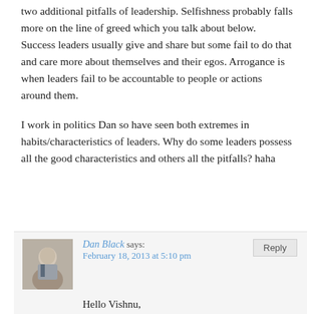two additional pitfalls of leadership. Selfishness probably falls more on the line of greed which you talk about below. Success leaders usually give and share but some fail to do that and care more about themselves and their egos. Arrogance is when leaders fail to be accountable to people or actions around them.
I work in politics Dan so have seen both extremes in habits/characteristics of leaders. Why do some leaders possess all the good characteristics and others all the pitfalls? haha
[Figure (photo): Portrait photo of Dan Black, a man in a suit jacket]
Dan Black says:
February 18, 2013 at 5:10 pm
Hello Vishnu,
Great addition. Thestu...  call